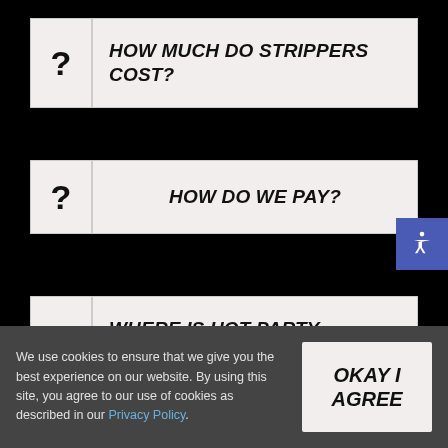? HOW MUCH DO STRIPPERS COST?
? HOW DO WE PAY?
? WHERE IS HOT PARTY STRIPPER ™ LOCATED?
We use cookies to ensure that we give you the best experience on our website. By using this site, you agree to our use of cookies as described in our Privacy Policy.
OKAY I AGREE